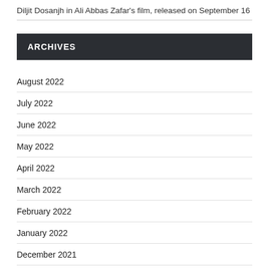Diljit Dosanjh in Ali Abbas Zafar's film, released on September 16
ARCHIVES
August 2022
July 2022
June 2022
May 2022
April 2022
March 2022
February 2022
January 2022
December 2021
November 2021